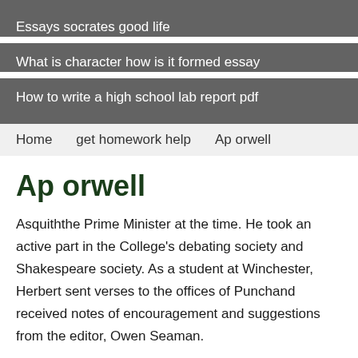Essays socrates good life
What is character how is it formed essay
How to write a high school lab report pdf
Home   get homework help   Ap orwell
Ap orwell
Asquiththe Prime Minister at the time. He took an active part in the College's debating society and Shakespeare society. As a student at Winchester, Herbert sent verses to the offices of Punchand received notes of encouragement and suggestions from the editor, Owen Seaman.